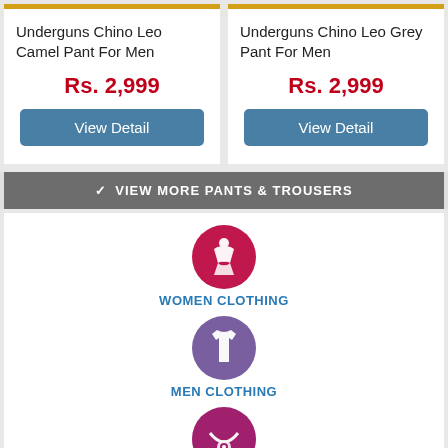Underguns Chino Leo Camel Pant For Men
Rs. 2,999
View Detail
Underguns Chino Leo Grey Pant For Men
Rs. 2,999
View Detail
VIEW MORE PANTS & TROUSERS
[Figure (infographic): Women Clothing category icon: crimson/dark pink circle with white dress figure icon]
WOMEN CLOTHING
[Figure (infographic): Men Clothing category icon: purple circle with white t-shirt icon]
MEN CLOTHING
[Figure (infographic): Accessories category icon: magenta/purple circle with white necklace/jewelry icon]